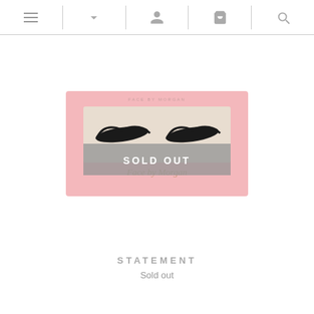Navigation bar with menu, dropdown, account, cart, and search icons
[Figure (photo): Pink eyelash product box labeled 'Face by Morgan' with false lashes visible through a clear window, overlaid with a grey 'SOLD OUT' banner]
STATEMENT
Sold out